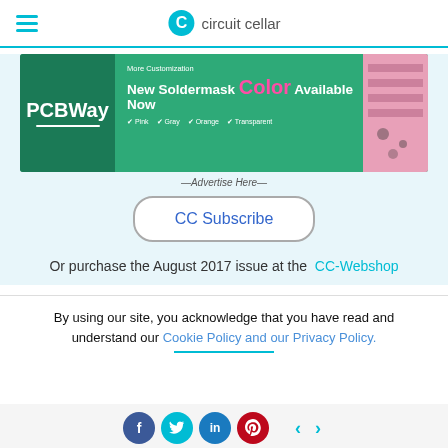circuit cellar
[Figure (illustration): PCBWay advertisement banner: New Soldermask Color Available Now - Pink, Gray, Orange, Transparent]
—Advertise Here—
CC Subscribe
Or purchase the August 2017 issue at the  CC-Webshop
By using our site, you acknowledge that you have read and understand our Cookie Policy and our Privacy Policy.
f  t  in  p